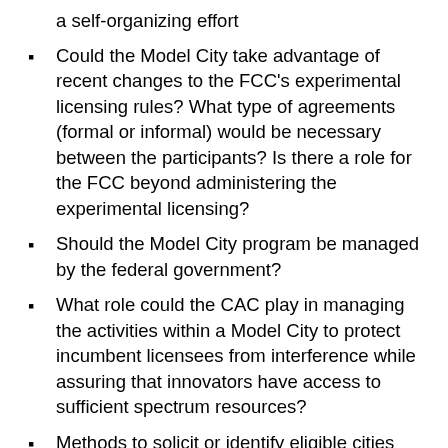a self-organizing effort
Could the Model City take advantage of recent changes to the FCC's experimental licensing rules? What type of agreements (formal or informal) would be necessary between the participants? Is there a role for the FCC beyond administering the experimental licensing?
Should the Model City program be managed by the federal government?
What role could the CAC play in managing the activities within a Model City to protect incumbent licensees from interference while assuring that innovators have access to sufficient spectrum resources?
Methods to solicit or identify eligible cities interesting in hosting a Model City deployment. What features of a candidate Model City would be most attractive?